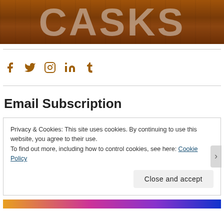[Figure (photo): Banner image with large text 'CASKS' overlaid on a wooden cask/barrel background in brown tones]
Social media icons: Facebook, Twitter, Instagram, LinkedIn, Tumblr
Email Subscription
Privacy & Cookies: This site uses cookies. By continuing to use this website, you agree to their use.
To find out more, including how to control cookies, see here: Cookie Policy
Close and accept